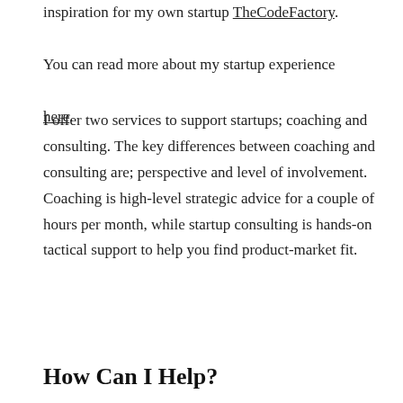inspiration for my own startup TheCodeFactory. You can read more about my startup experience here.
I offer two services to support startups; coaching and consulting. The key differences between coaching and consulting are; perspective and level of involvement. Coaching is high-level strategic advice for a couple of hours per month, while startup consulting is hands-on tactical support to help you find product-market fit.
How Can I Help?